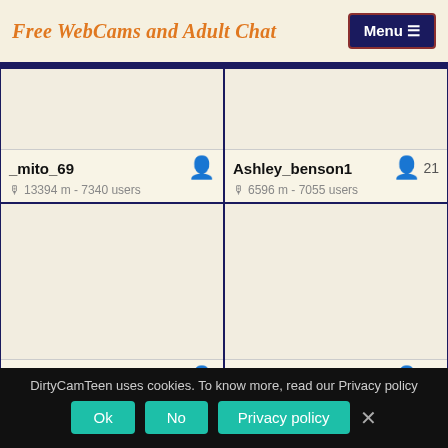Free WebCams and Adult Chat
_mito_69 | 13394 m - 7340 users
Ashley_benson1 | 21 | 6596 m - 7055 users
Emilygrey_ | 10728 m - 6283 users
Maxinegh_ | 20 | 15481 m - 6217 users
DirtyCamTeen uses cookies. To know more, read our Privacy policy